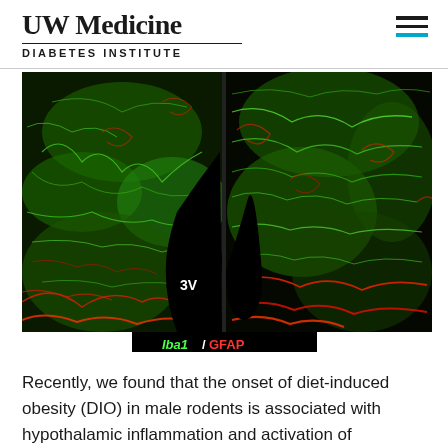UW Medicine DIABETES INSTITUTE
[Figure (photo): Fluorescence microscopy images of hypothalamic tissue showing Iba1 (green, microglia) and GFAP (red, astrocytes) staining. Left panel shows tissue with label '3V' (third ventricle) marked in black region. Right panel shows higher magnification view of the same staining. Label at bottom center reads 'Iba1/GFAP' on black background.]
Iba1/GFAP
Recently, we found that the onset of diet-induced obesity (DIO) in male rodents is associated with hypothalamic inflammation and activation of surrounding astrocytes and microglia (resident CNS macrophages) (Thaler JCI 2012). Our current research focuses on determining the role of the gliosis process